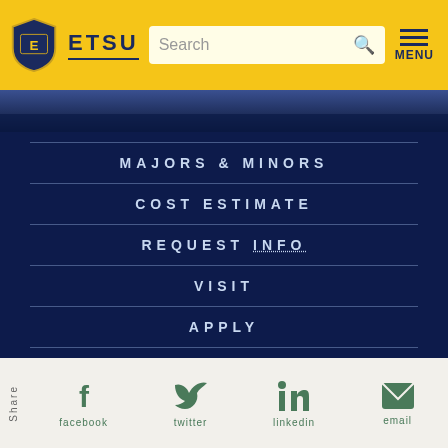ETSU - Search - MENU
[Figure (screenshot): ETSU university website navigation page with dark navy background showing menu items]
MAJORS & MINORS
COST ESTIMATE
REQUEST INFO
VISIT
APPLY
Share - facebook - twitter - linkedin - email